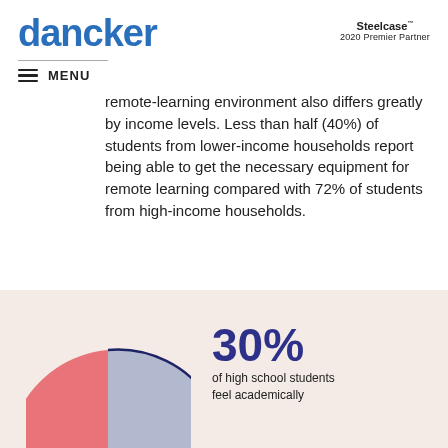dancker | Steelcase 2020 Premier Partner
MENU
remote-learning environment also differs greatly by income levels. Less than half (40%) of students from lower-income households report being able to get the necessary equipment for remote learning compared with 72% of students from high-income households.
[Figure (pie-chart): 30% of high school students feel academically]
30%
of high school students feel academically